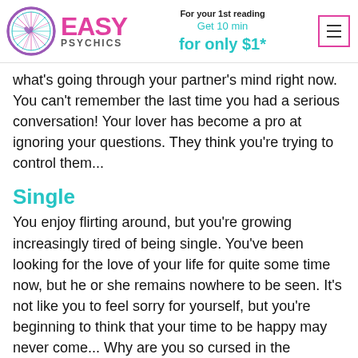EASY PSYCHICS | For your 1st reading Get 10 min for only $1*
what's going through your partner's mind right now. You can't remember the last time you had a serious conversation! Your lover has become a pro at ignoring your questions. They think you're trying to control them...
Single
You enjoy flirting around, but you're growing increasingly tired of being single. You've been looking for the love of your life for quite some time now, but he or she remains nowhere to be seen. It's not like you to feel sorry for yourself, but you're beginning to think that your time to be happy may never come... Why are you so cursed in the domain, my Aries friend?
Sexy tip